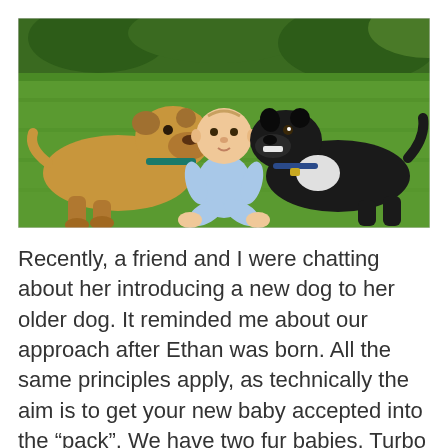[Figure (photo): A baby in a light blue onesie sitting on green grass between two dogs — a tan/brown bulldog-type dog on the left leaning toward the baby, and a black Staffordshire bull terrier type dog on the right, outdoors in a garden setting.]
Recently, a friend and I were chatting about her introducing a new dog to her older dog. It reminded me about our approach after Ethan was born. All the same principles apply, as technically the aim is to get your new baby accepted into the “pack”. We have two fur babies, Turbo and Shelby. Turbo was born on the 11th April 2008 and I was